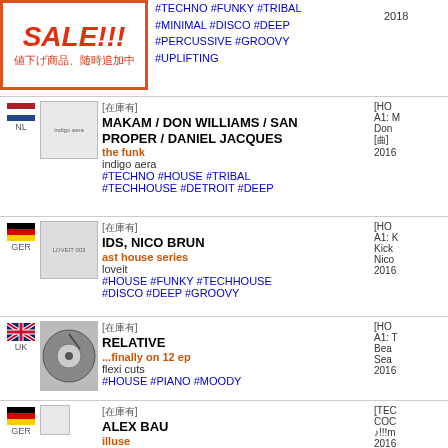[Figure (other): SALE!!! banner with Japanese text 値下げ商品、随時追加中]
#TECHNO #FUNKY #TRIBAL #MINIMAL #DISCO #DEEP #PERCUSSIVE #GROOVY #UPLIFTING | 2018
[在庫有] MAKAM / DON WILLIAMS / SAN PROPER / DANIEL JACQUES - the funk - indigo aera | #TECHNO #HOUSE #TRIBAL #TECHHOUSE #DETROIT #DEEP | [HO...] A1: Don... [曲] 2016
[在庫有] IDS, NICO BRUN - ast house series - loveit | #HOUSE #FUNKY #TECHHOUSE #DISCO #DEEP #GROOVY | [HO...] A1: Kick... Nico... 2016
[在庫有] RELATIVE - ...finally on 12 ep - flexi cuts | #HOUSE #PIANO #MOODY | [HO...] A1: T... Bea... Sea... 2016
[在庫有] ALEX BAU - illuse - cocoon | #TECHNO #FUNKY #HARD #ELECTRO #DARK #DEEP #GROOVY #UPLIFTING | [TEC...] COC... ♪!!!m... 2016
[在庫有] VARIOUS ARTISTS - a-sides volume 5 - 3 - drumcode | #TECHNO #MINIMAL #ELECTRO | [TEC...] A1: Gior... 0] 2018